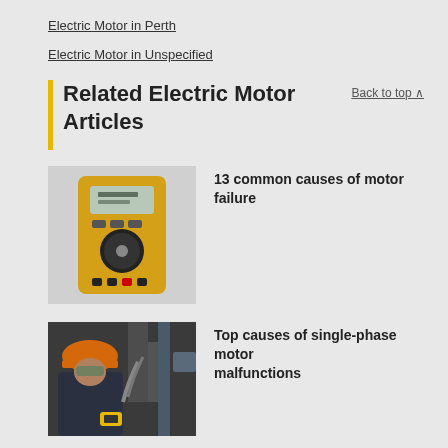Electric Motor in Perth
Electric Motor in Unspecified
Related Electric Motor Articles
Back to top ▲
[Figure (photo): Yellow digital multimeter (Fluke brand) with display showing 2.64]
13 common causes of motor failure
[Figure (photo): Worker wearing orange hard hat and safety glasses using a yellow handheld device near industrial equipment]
Top causes of single-phase motor malfunctions